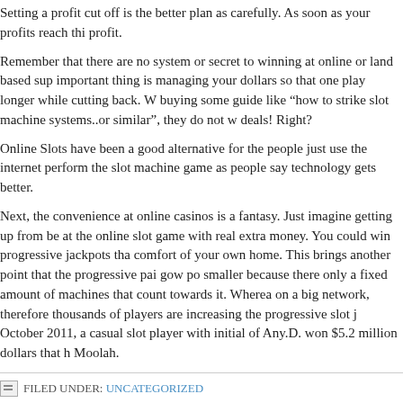Setting a profit cut off is the better plan as carefully. As soon as your profits reach this profit.
Remember that there are no system or secret to winning at online or land based sup important thing is managing your dollars so that one play longer while cutting back. W buying some guide like “how to strike slot machine systems..or similar”, they do not w deals! Right?
Online Slots have been a good alternative for the people just use the internet perform the slot machine game as people say technology gets better.
Next, the convenience at online casinos is a fantasy. Just imagine getting up from be at the online slot game with real extra money. You could win progressive jackpots tha comfort of your own home. This brings another point that the progressive pai gow po smaller because there only a fixed amount of machines that count towards it. Wherea on a big network, therefore thousands of players are increasing the progressive slot j October 2011, a casual slot player with initial of Any.D. won $5.2 million dollars that h Moolah.
FILED UNDER: UNCATEGORIZED
Play Slot Machine Game Online And Make Certain Your